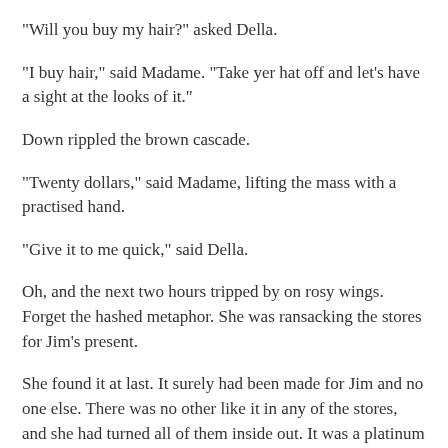"Will you buy my hair?" asked Della.
"I buy hair," said Madame. "Take yer hat off and let's have a sight at the looks of it."
Down rippled the brown cascade.
"Twenty dollars," said Madame, lifting the mass with a practised hand.
"Give it to me quick," said Della.
Oh, and the next two hours tripped by on rosy wings. Forget the hashed metaphor. She was ransacking the stores for Jim's present.
She found it at last. It surely had been made for Jim and no one else. There was no other like it in any of the stores, and she had turned all of them inside out. It was a platinum fob chain simple and chaste in design, properly proclaiming its value by substance alone and not by meretricious ornamentation, as all good things should do. It was even